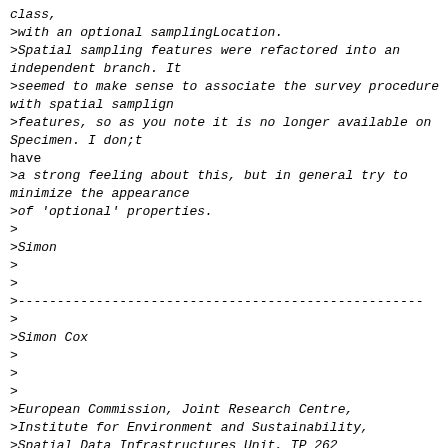class,
>with an optional samplingLocation.
>Spatial sampling features were refactored into an independent branch. It
>seemed to make sense to associate the survey procedure with spatial samplign
>features, so as you note it is no longer available on Specimen. I don;t
have
>a strong feeling about this, but in general try to minimize the appearance
>of 'optional' properties.
>
>Simon
>
>
>----------------------------------------------------
>
>Simon Cox
>
>
>
>European Commission, Joint Research Centre,
>Institute for Environment and Sustainability,
>Spatial Data Infrastructures Unit, TP 262
>
>Via E. Fermi, 2749, I-21027 Ispra (VA), Italy
>
>Tel: +39 0332 78 3652
>